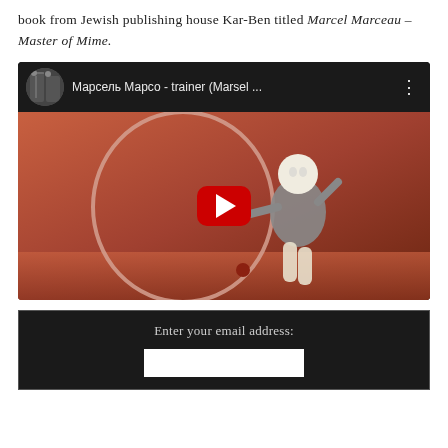book from Jewish publishing house Kar-Ben titled Marcel Marceau – Master of Mime.
[Figure (screenshot): YouTube video embed showing a mime performer (Marcel Marceau) with a hoop, with Cyrillic title 'Марсель Марсо - trainer (Marsel ...' and a red play button overlay.]
Enter your email address: